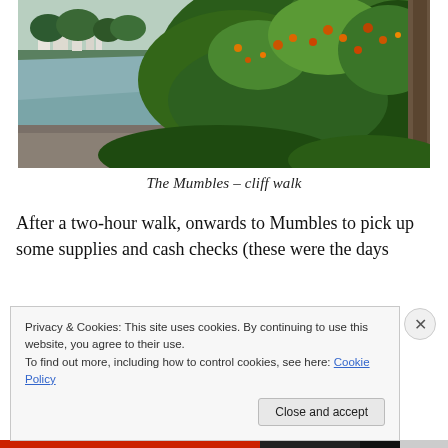[Figure (photo): Outdoor photograph showing a coastal cliff walk at The Mumbles, with lush green vegetation and flowering plants in the foreground, a river or inlet and white buildings visible in the background]
The Mumbles – cliff walk
After a two-hour walk, onwards to Mumbles to pick up some supplies and cash checks (these were the days before ATM omnipresence), heavily laden as the
Privacy & Cookies: This site uses cookies. By continuing to use this website, you agree to their use.
To find out more, including how to control cookies, see here: Cookie Policy
Close and accept